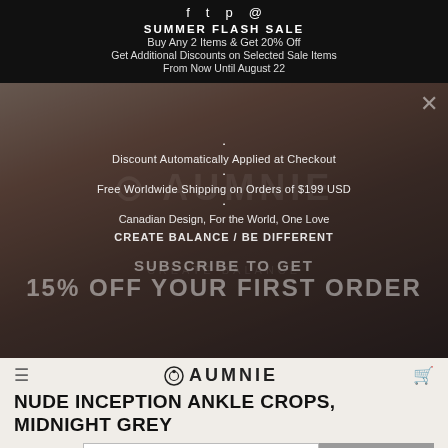SUMMER FLASH SALE
Buy Any 2 Items & Get 20% Off
Get Additional Discounts on Selected Sale Items
From Now Until August 22
Discount Automatically Applied at Checkout
Free Worldwide Shipping on Orders of $199 USD
Canadian Design, For the World, One Love
CREATE BALANCE / BE DIFFERENT
[Figure (screenshot): Website popup overlay on a product page for Aumnie activewear, showing a summer flash sale banner, social media icons, subscribe prompt, and product listing for Nude Inception Ankle Crops in Midnight Grey at $89 USD]
NUDE INCEPTION ANKLE CROPS, MIDNIGHT GREY
$89 USD
SIZE GUIDE